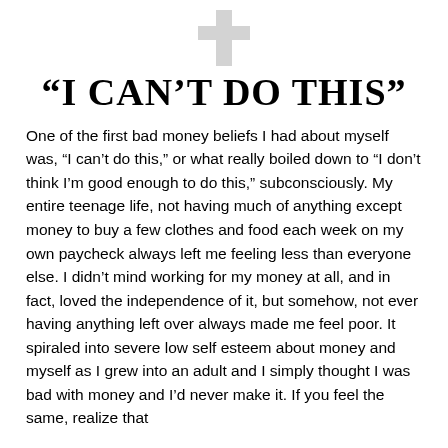[Figure (illustration): A small grey Christian cross icon centered at the top of the page]
“I CAN’T DO THIS”
One of the first bad money beliefs I had about myself was, “I can’t do this,” or what really boiled down to “I don’t think I’m good enough to do this,” subconsciously. My entire teenage life, not having much of anything except money to buy a few clothes and food each week on my own paycheck always left me feeling less than everyone else. I didn’t mind working for my money at all, and in fact, loved the independence of it, but somehow, not ever having anything left over always made me feel poor. It spiraled into severe low self esteem about money and myself as I grew into an adult and I simply thought I was bad with money and I’d never make it. If you feel the same, realize that